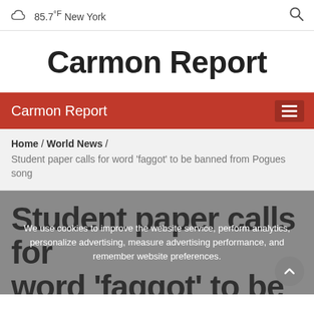85.7°F New York
Carmon Report
Carmon Report
Home / World News / Student paper calls for word 'faggot' to be banned from Pogues song
Student paper calls for word 'faggot' to be banned from Pogues song
We use cookies to improve the website service, perform analytics, personalize advertising, measure advertising performance, and remember website preferences.